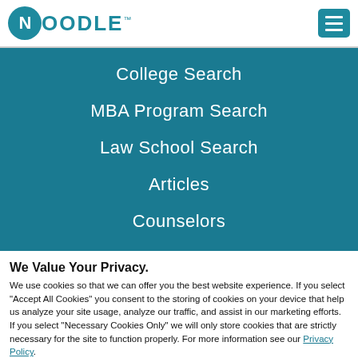[Figure (logo): Noodle logo with teal circle containing N and text OODLE with trademark symbol]
[Figure (other): Hamburger menu button (three horizontal lines) in teal rounded square]
College Search
MBA Program Search
Law School Search
Articles
Counselors
We Value Your Privacy.
We use cookies so that we can offer you the best website experience. If you select “Accept All Cookies” you consent to the storing of cookies on your device that help us analyze your site usage, analyze our traffic, and assist in our marketing efforts. If you select “Necessary Cookies Only” we will only store cookies that are strictly necessary for the site to function properly. For more information see our Privacy Policy.
Necessary Cookies Only | Accept All Cookies | Show details